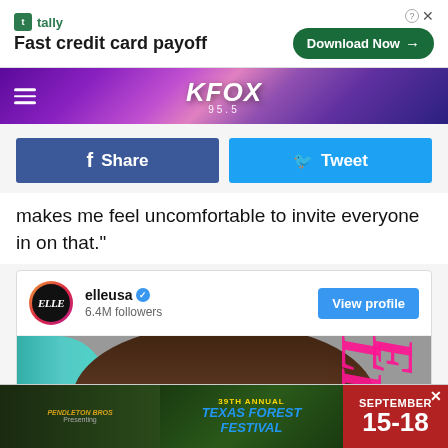[Figure (screenshot): Tally advertisement banner: Fast credit card payoff with Download Now button]
KFOX 95.5 radio station banner with hamburger menu
[Figure (screenshot): Facebook Share and Twitter Tweet social sharing buttons]
makes me feel uncomfortable to invite everyone in on that."
[Figure (screenshot): Instagram embed showing elleusa account with 6.4M followers, View profile button, and ELLE magazine cover image]
[Figure (screenshot): Bottom advertisement for Texas Forest Festival September 15-18]